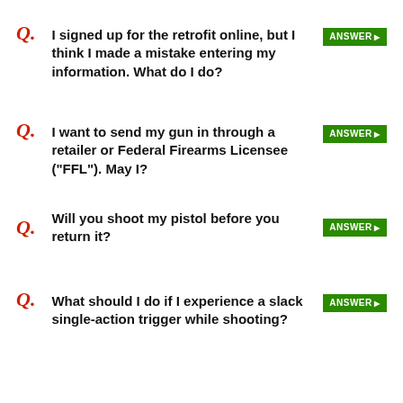Q. I signed up for the retrofit online, but I think I made a mistake entering my information. What do I do? ANSWER ▶
Q. I want to send my gun in through a retailer or Federal Firearms Licensee ("FFL"). May I? ANSWER ▶
Q. Will you shoot my pistol before you return it? ANSWER ▶
Q. What should I do if I experience a slack single-action trigger while shooting? ANSWER ▶